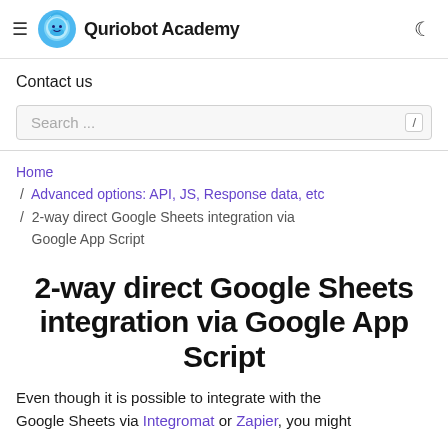Quriobot Academy
Contact us
Search ...
Home / Advanced options: API, JS, Response data, etc / 2-way direct Google Sheets integration via Google App Script
2-way direct Google Sheets integration via Google App Script
Even though it is possible to integrate with the Google Sheets via Integromat or Zapier, you might